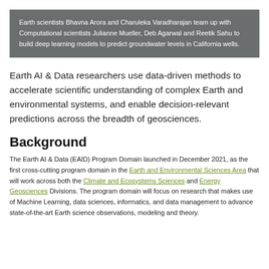Earth scientists Bhavna Arora and Charuleka Varadharajan team up with Computational scientists Julianne Mueller, Deb Agarwal and Reetik Sahu to build deep learning models to predict groundwater levels in California wells.
Earth AI & Data researchers use data-driven methods to accelerate scientific understanding of complex Earth and environmental systems, and enable decision-relevant predictions across the breadth of geosciences.
Background
The Earth AI & Data (EAID) Program Domain launched in December 2021, as the first cross-cutting program domain in the Earth and Environmental Sciences Area that will work across both the Climate and Ecosystems Sciences and Energy Geosciences Divisions. The program domain will focus on research that makes use of Machine Learning, data sciences, informatics, and data management to advance state-of-the-art Earth science observations, modeling and theory.